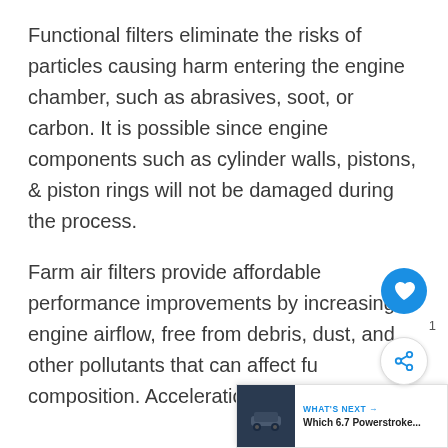Functional filters eliminate the risks of particles causing harm entering the engine chamber, such as abrasives, soot, or carbon. It is possible since engine components such as cylinder walls, pistons, & piston rings will not be damaged during the process.
Farm air filters provide affordable performance improvements by increasing engine airflow, free from debris, dust, and other pollutants that can affect fuel composition. Acceleration & horsepower